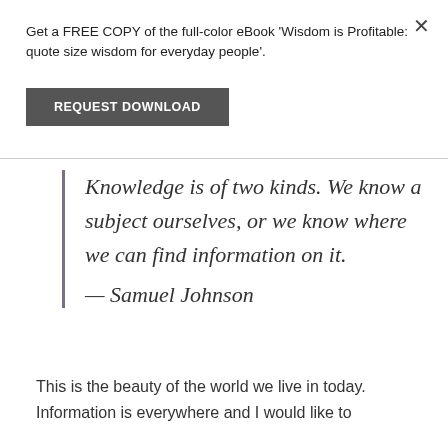Get a FREE COPY of the full-color eBook 'Wisdom is Profitable: quote size wisdom for everyday people'.
REQUEST DOWNLOAD
Knowledge is of two kinds. We know a subject ourselves, or we know where we can find information on it.
— Samuel Johnson
This is the beauty of the world we live in today. Information is everywhere and I would like to